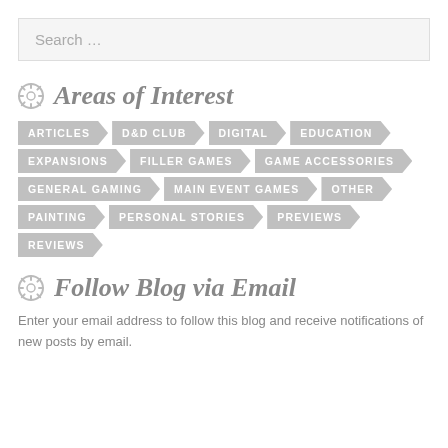Search …
Areas of Interest
ARTICLES  D&D CLUB  DIGITAL  EDUCATION
EXPANSIONS  FILLER GAMES  GAME ACCESSORIES
GENERAL GAMING  MAIN EVENT GAMES  OTHER
PAINTING  PERSONAL STORIES  PREVIEWS
REVIEWS
Follow Blog via Email
Enter your email address to follow this blog and receive notifications of new posts by email.